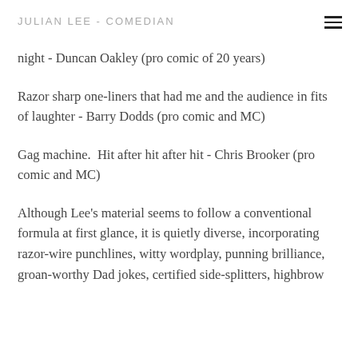JULIAN LEE - COMEDIAN
night - Duncan Oakley (pro comic of 20 years)
Razor sharp one-liners that had me and the audience in fits of laughter - Barry Dodds (pro comic and MC)
Gag machine.  Hit after hit after hit - Chris Brooker (pro comic and MC)
Although Lee's material seems to follow a conventional formula at first glance, it is quietly diverse, incorporating razor-wire punchlines, witty wordplay, punning brilliance, groan-worthy Dad jokes, certified side-splitters, highbrow